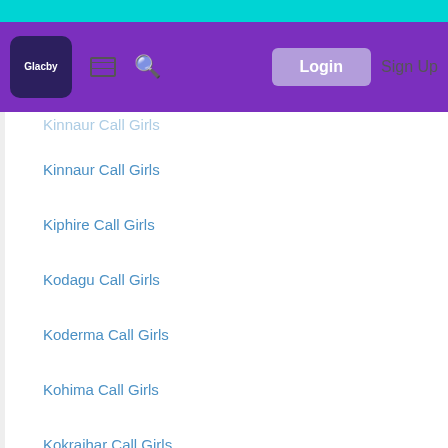Glacby navigation bar with Login and Sign Up
Kinnaur Call Girls
Kiphire Call Girls
Kodagu Call Girls
Koderma Call Girls
Kohima Call Girls
Kokrajhar Call Girls
Kolar Call Girls